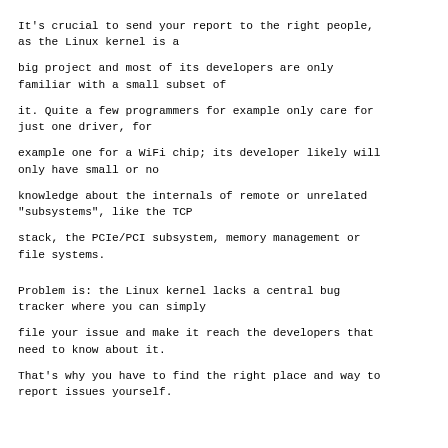It's crucial to send your report to the right people, as the Linux kernel is a
big project and most of its developers are only familiar with a small subset of
it. Quite a few programmers for example only care for just one driver, for
example one for a WiFi chip; its developer likely will only have small or no
knowledge about the internals of remote or unrelated "subsystems", like the TCP
stack, the PCIe/PCI subsystem, memory management or file systems.
Problem is: the Linux kernel lacks a central bug tracker where you can simply
file your issue and make it reach the developers that need to know about it.
That's why you have to find the right place and way to report issues yourself.